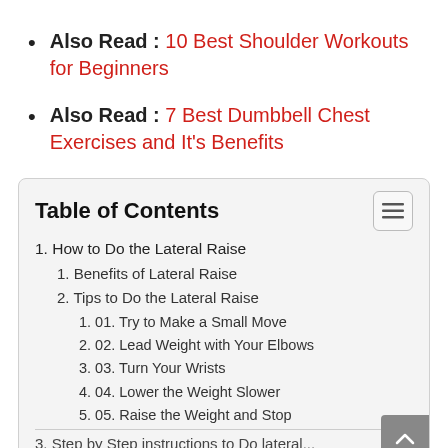Also Read : 10 Best Shoulder Workouts for Beginners
Also Read : 7 Best Dumbbell Chest Exercises and It’s Benefits
Table of Contents
1. How to Do the Lateral Raise
1. Benefits of Lateral Raise
2. Tips to Do the Lateral Raise
1. 01. Try to Make a Small Move
2. 02. Lead Weight with Your Elbows
3. 03. Turn Your Wrists
4. 04. Lower the Weight Slower
5. 05. Raise the Weight and Stop
3. Step by Step instructions to Do lateral...